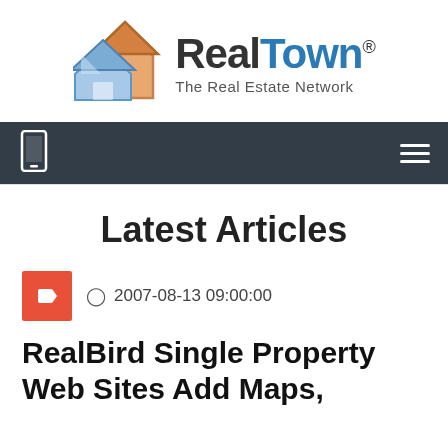[Figure (logo): RealTown - The Real Estate Network logo with two house icons (blue and orange) and brand name]
RealTown The Real Estate Network
Latest Articles
2007-08-13 09:00:00
RealBird Single Property Web Sites Add Maps,